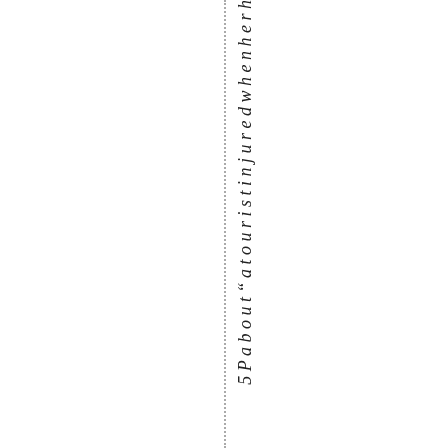5 P a b o u t " a t o u r i s t i n j u r e d w h e n h e r h